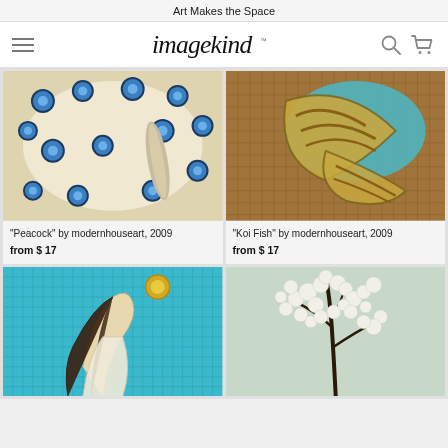Art Makes the Space
imagekind
[Figure (photo): Peacock painting with blue circular spots on white feathers]
"Peacock" by modernhouseart, 2009
from $ 17
[Figure (photo): Koi Fish mosaic artwork in gold and turquoise tiles]
"Koi Fish" by modernhouseart, 2009
from $ 17
[Figure (photo): Mermaid painting with turquoise background and golden sun]
[Figure (photo): White blossom tree painting on light background]